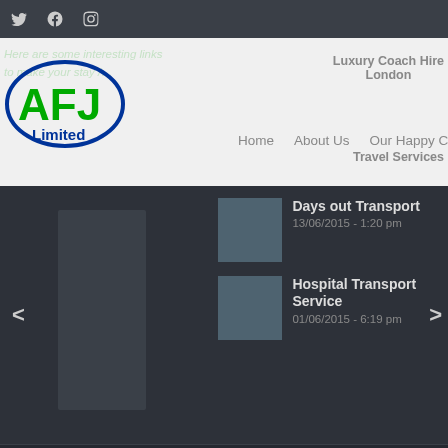[Figure (screenshot): Social media icons: Twitter, Facebook, Instagram on dark top bar]
[Figure (logo): AFJ Limited logo with blue oval and green AFJ text]
Here are some interesting links to make your stay/…
Luxury Coach Hire London
Travel Services
Home   About Us   Our Happy Clients!   Trave…
< (left arrow slider)
> (right arrow slider)
Days out Transport
13/06/2015 - 1:20 pm
Hospital Transport Service
01/06/2015 - 6:19 pm
© Copyright - - AFJ TRAVEL